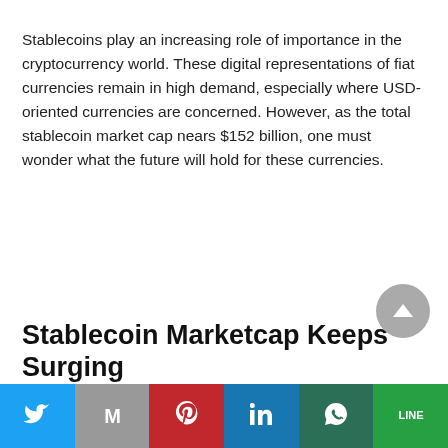Stablecoins play an increasing role of importance in the cryptocurrency world. These digital representations of fiat currencies remain in high demand, especially where USD-oriented currencies are concerned. However, as the total stablecoin market cap nears $152 billion, one must wonder what the future will hold for these currencies.
Stablecoin Marketcap Keeps Surging